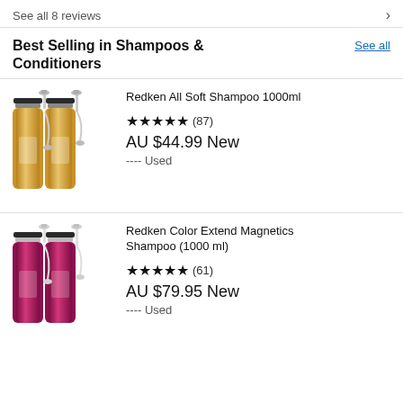See all 8 reviews
Best Selling in Shampoos & Conditioners
See all
[Figure (photo): Two gold Redken All Soft Shampoo 1000ml bottles with pump dispensers]
Redken All Soft Shampoo 1000ml
★★★★★ (87)
AU $44.99 New
---- Used
[Figure (photo): Two magenta/pink Redken Color Extend Magnetics Shampoo 1000ml bottles with pump dispensers]
Redken Color Extend Magnetics Shampoo (1000 ml)
★★★★★ (61)
AU $79.95 New
---- Used